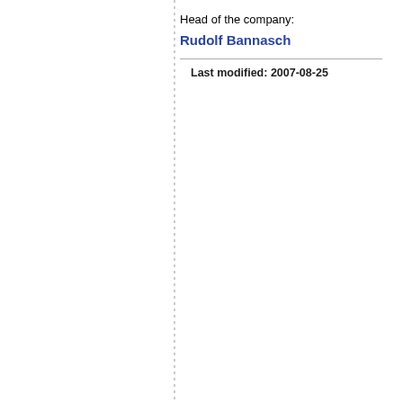Head of the company:
Rudolf Bannasch
Last modified: 2007-08-25